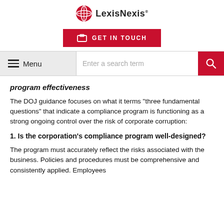[Figure (logo): LexisNexis logo with red globe icon and LexisNexis text]
[Figure (other): Red GET IN TOUCH call-to-action button with briefcase icon]
[Figure (other): Navigation bar with hamburger Menu, search input field, and red search button]
program effectiveness
The DOJ guidance focuses on what it terms “three fundamental questions” that indicate a compliance program is functioning as a strong ongoing control over the risk of corporate corruption:
1. Is the corporation’s compliance program well-designed?
The program must accurately reflect the risks associated with the business. Policies and procedures must be comprehensive and consistently applied. Employees